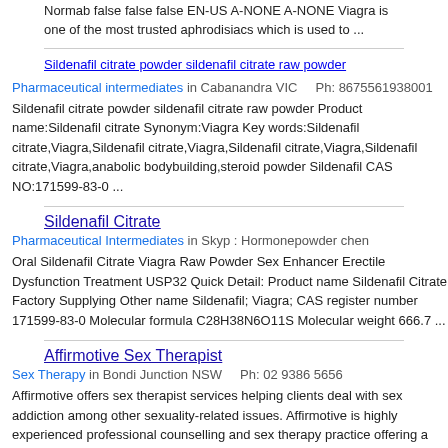Normab false false false EN-US A-NONE A-NONE Viagra is one of the most trusted aphrodisiacs which is used to ...
Sildenafil citrate powder sildenafil citrate raw powder
Pharmaceutical intermediates in Cabanandra VIC    Ph: 8675561938001
Sildenafil citrate powder sildenafil citrate raw powder Product name:Sildenafil citrate Synonym:Viagra Key words:Sildenafil citrate,Viagra,Sildenafil citrate,Viagra,Sildenafil citrate,Viagra,Sildenafil citrate,Viagra,anabolic bodybuilding,steroid powder Sildenafil CAS NO:171599-83-0 ...
Sildenafil Citrate
Pharmaceutical Intermediates in Skyp : Hormonepowder chen
Oral Sildenafil Citrate Viagra Raw Powder Sex Enhancer Erectile Dysfunction Treatment USP32 Quick Detail: Product name Sildenafil Citrate Factory Supplying Other name Sildenafil; Viagra; CAS register number 171599-83-0 Molecular formula C28H38N6O11S Molecular weight 666.7 ...
Affirmotive Sex Therapist
Sex Therapy in Bondi Junction NSW    Ph: 02 9386 5656
Affirmotive offers sex therapist services helping clients deal with sex addiction among other sexuality-related issues. Affirmotive is highly experienced professional counselling and sex therapy practice offering a Sydney and internet based service. Sex Therapy, Affirmotive Sex Therapist, Bondi ...